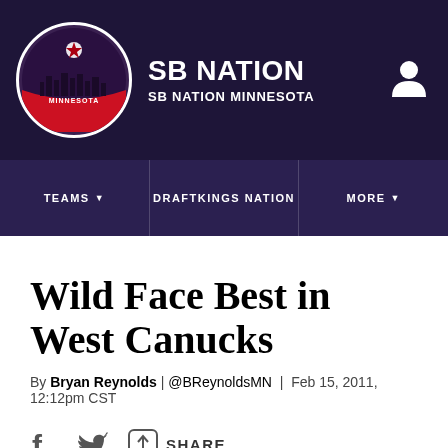SB NATION / SB NATION MINNESOTA
TEAMS | DRAFTKINGS NATION | MORE
Wild Face Best in West Canucks
By Bryan Reynolds | @BReynoldsMN | Feb 15, 2011, 12:12pm CST
SHARE